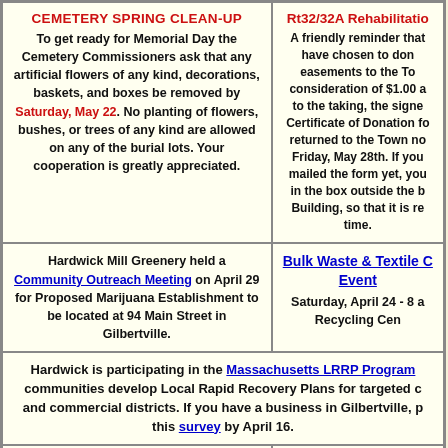CEMETERY SPRING CLEAN-UP
To get ready for Memorial Day the Cemetery Commissioners ask that any artificial flowers of any kind, decorations, baskets, and boxes be removed by Saturday, May 22. No planting of flowers, bushes, or trees of any kind are allowed on any of the burial lots. Your cooperation is greatly appreciated.
Rt32/32A Rehabilitation
A friendly reminder that ... have chosen to donate easements to the Town consideration of $1.00 and prior to the taking, the signed Certificate of Donation for returned to the Town no later than Friday, May 28th. If you have not mailed the form yet, you can drop it in the box outside the Municipal Building, so that it is returned in time.
Hardwick Mill Greenery held a Community Outreach Meeting on April 29 for Proposed Marijuana Establishment to be located at 94 Main Street in Gilbertville.
Bulk Waste & Textile Collection Event
Saturday, April 24 - 8 a... Recycling Cen...
Hardwick is participating in the Massachusetts LRRP Program communities develop Local Rapid Recovery Plans for targeted commercial districts. If you have a business in Gilbertville, please take this survey by April 16.
2021 Annual Town Election
Assessors Ma...